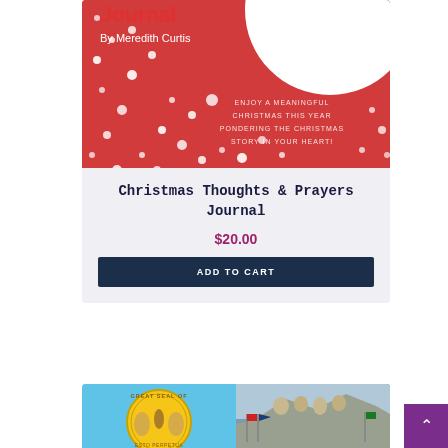[Figure (illustration): Book cover for 'Christmas Thoughts & Prayers Journal' by Meredith Curtis. Red background with white polka dots/snowflakes, a large white circle in upper right, red stylized 'Journal' title text, white subtitle text 'By Meredith Curtis', and centered text reading 'ENJOY A MEANINGFUL CHRISTMAS THIS YEAR PONDERING THE CHRISTMAS STORY IN YOUR HEART!']
Christmas Thoughts & Prayers Journal
$20.00
ADD TO CART
[Figure (photo): Partial view of a product card showing two images side by side: left half shows the Great Seal of a state on a light blue background, right half shows Mount Rushmore with flags in the foreground.]